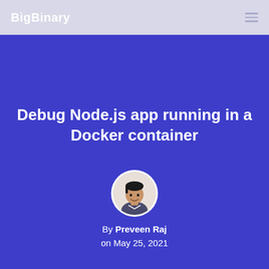BigBinary
Debug Node.js app running in a Docker container
By Preveen Raj on May 25, 2021